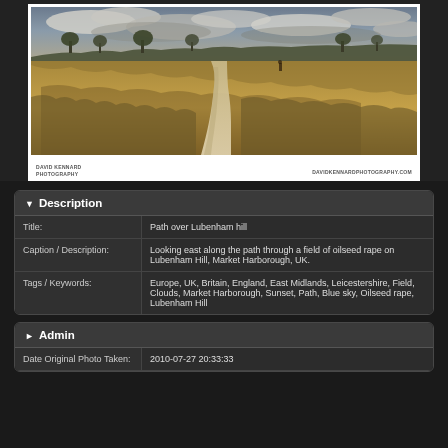[Figure (photo): Landscape photo of a path through a field of oilseed rape on Lubenham Hill, Market Harborough, UK. Wide panoramic shot showing golden fields under dramatic cloudy sky with trees on horizon. Credit: David Kennard Photography / davidkennardphotography.com]
| Title: | Path over Lubenham hill |
| Caption / Description: | Looking east along the path through a field of oilseed rape on Lubenham Hill, Market Harborough, UK. |
| Tags / Keywords: | Europe, UK, Britain, England, East Midlands, Leicestershire, Field, Clouds, Market Harborough, Sunset, Path, Blue sky, Oilseed rape, Lubenham Hill |
Admin
| Date Original Photo Taken: | 2010-07-27 20:33:33 |